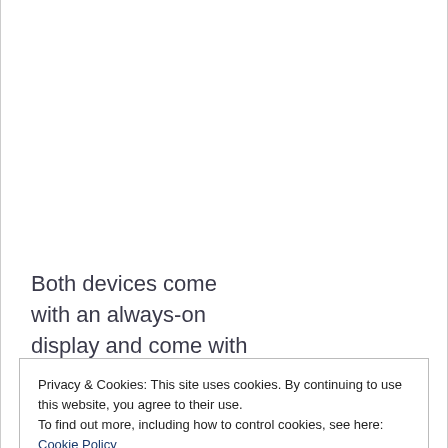Both devices come with an always-on display and come with
Privacy & Cookies: This site uses cookies. By continuing to use this website, you agree to their use.
To find out more, including how to control cookies, see here: Cookie Policy
Close and accept
indicated that they will